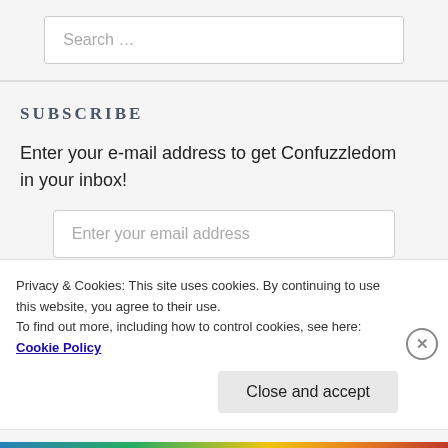Search …
SUBSCRIBE
Enter your e-mail address to get Confuzzledom in your inbox!
Enter your email address
Privacy & Cookies: This site uses cookies. By continuing to use this website, you agree to their use. To find out more, including how to control cookies, see here: Cookie Policy
Close and accept